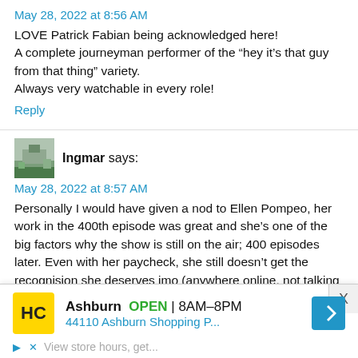May 28, 2022 at 8:56 AM
LOVE Patrick Fabian being acknowledged here!
A complete journeyman performer of the “hey it’s that guy from that thing” variety.
Always very watchable in every role!
Reply
Ingmar says:
May 28, 2022 at 8:57 AM
Personally I would have given a nod to Ellen Pompeo, her work in the 400th episode was great and she’s one of the big factors why the show is still on the air; 400 episodes later. Even with her paycheck, she still doesn’t get the recognision she deserves imo (anywhere online, not talking about TVLine).
[Figure (screenshot): Advertisement banner: Ashburn OPEN 8AM-8PM, 44110 Ashburn Shopping P..., HC logo in yellow square, navigation arrow icon]
Reply